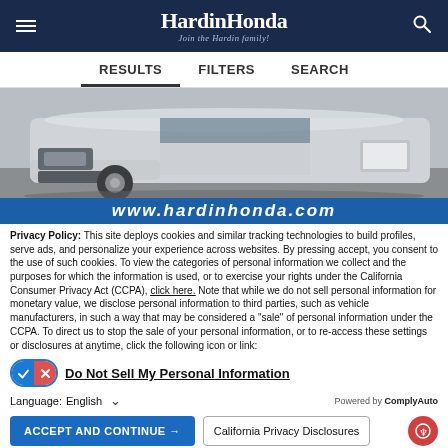HardinHonda — Join the Hardin family!
RESULTS   FILTERS   SEARCH
[Figure (photo): Front quarter view of a silver SUV (Honda) in a parking lot, cropped showing hood, headlights, and front wheel]
[Figure (screenshot): Blue banner with www.hardinhonda.com in large white italic text]
Privacy Policy: This site deploys cookies and similar tracking technologies to build profiles, serve ads, and personalize your experience across websites. By pressing accept, you consent to the use of such cookies. To view the categories of personal information we collect and the purposes for which the information is used, or to exercise your rights under the California Consumer Privacy Act (CCPA), click here. Note that while we do not sell personal information for monetary value, we disclose personal information to third parties, such as vehicle manufacturers, in such a way that may be considered a "sale" of personal information under the CCPA. To direct us to stop the sale of your personal information, or to re-access these settings or disclosures at anytime, click the following icon or link:
Do Not Sell My Personal Information
Language: English
Powered by ComplyAuto
ACCEPT AND CONTINUE →   California Privacy Disclosures